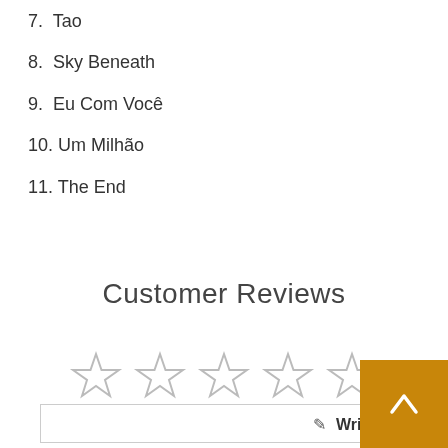7. Tao
8. Sky Beneath
9. Eu Com Você
10. Um Milhão
11. The End
Customer Reviews
[Figure (other): Five empty star rating icons in a row]
Write a Review